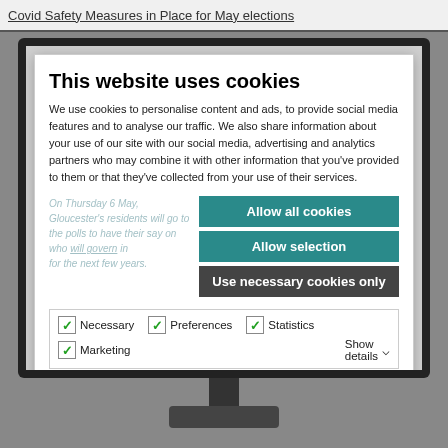Covid Safety Measures in Place for May elections
[Figure (screenshot): A computer monitor displaying a cookie consent dialog overlay on top of a webpage about 'Covid Safety Measures in Place for May elections'. The cookie dialog contains a title 'This website uses cookies', explanatory text about data use, three teal/dark buttons (Allow all cookies, Allow selection, Use necessary cookies only), and a row of checkboxes for Necessary, Preferences, Statistics, and Marketing with a Show details dropdown.]